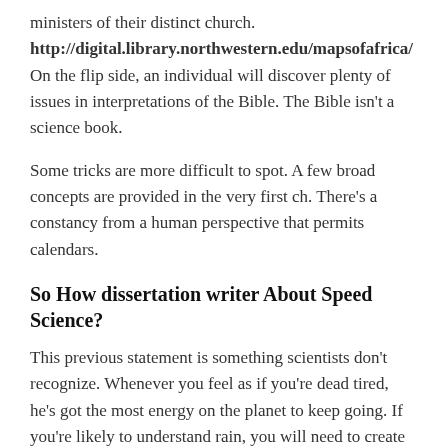ministers of their distinct church. http://digital.library.northwestern.edu/mapsofafrica/ On the flip side, an individual will discover plenty of issues in interpretations of the Bible. The Bible isn't a science book.
Some tricks are more difficult to spot. A few broad concepts are provided in the very first ch. There's a constancy from a human perspective that permits calendars.
So How dissertation writer About Speed Science?
This previous statement is something scientists don't recognize. Whenever you feel as if you're dead tired, he's got the most energy on the planet to keep going. If you're likely to understand rain, you will need to create guesses, he states. The reality is, science can't explain everything. Specifically, it was the form of knowledge which people may communicate to one another and share. There are several things that we've